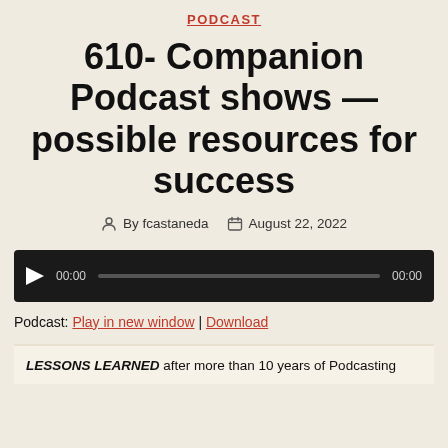PODCAST
610- Companion Podcast shows — possible resources for success
By fcastaneda  August 22, 2022
[Figure (other): Audio player widget with play button, current time 00:00, progress bar, and total time 00:00 on a dark background]
Podcast: Play in new window | Download
LESSONS LEARNED after more than 10 years of Podcasting